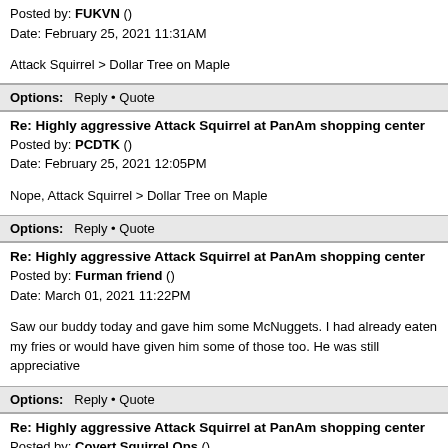Posted by: FUKVN ()
Date: February 25, 2021 11:31AM

Attack Squirrel > Dollar Tree on Maple
Options:   Reply • Quote
Re: Highly aggressive Attack Squirrel at PanAm shopping center
Posted by: PCDTK ()
Date: February 25, 2021 12:05PM

Nope, Attack Squirrel > Dollar Tree on Maple
Options:   Reply • Quote
Re: Highly aggressive Attack Squirrel at PanAm shopping center
Posted by: Furman friend ()
Date: March 01, 2021 11:22PM

Saw our buddy today and gave him some McNuggets. I had already eaten my fries or would have given him some of those too. He was still appreciative
Options:   Reply • Quote
Re: Highly aggressive Attack Squirrel at PanAm shopping center
Posted by: Covert Squirrel Ops ()
Date: March 02, 2021 02:37AM

Well done, Furman Friend! I wonder if Furman would like those nuggetty